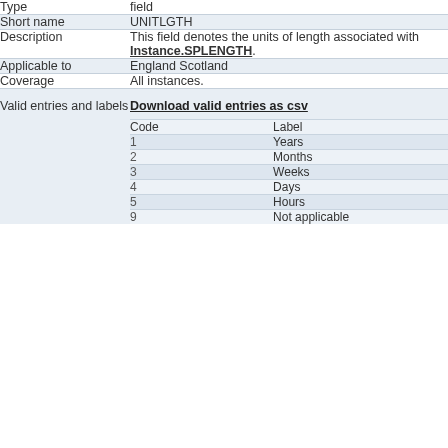| Type | field |
| --- | --- |
| Short name | UNITLGTH |
| Description | This field denotes the units of length associated with Instance.SPLENGTH. |
| Applicable to | England Scotland |
| Coverage | All instances. |
| Valid entries and labels | Download valid entries as csv |
| Code | Label |
| --- | --- |
| 1 | Years |
| 2 | Months |
| 3 | Weeks |
| 4 | Days |
| 5 | Hours |
| 9 | Not applicable |